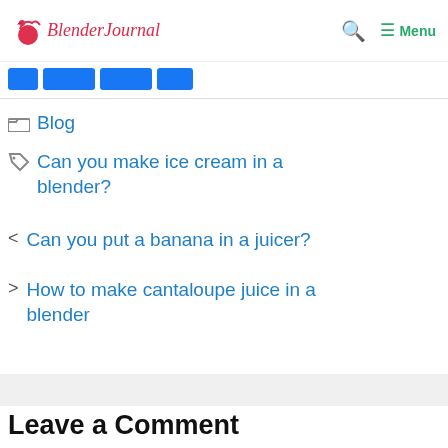Blender Journal — Menu
[Figure (other): Four blue social media share buttons]
Blog
Can you make ice cream in a blender?
< Can you put a banana in a juicer?
> How to make cantaloupe juice in a blender
Leave a Comment